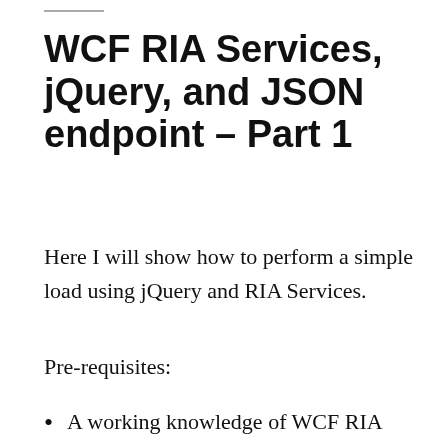WCF RIA Services, jQuery, and JSON endpoint – Part 1
Here I will show how to perform a simple load using jQuery and RIA Services.
Pre-requisites:
A working knowledge of WCF RIA Services